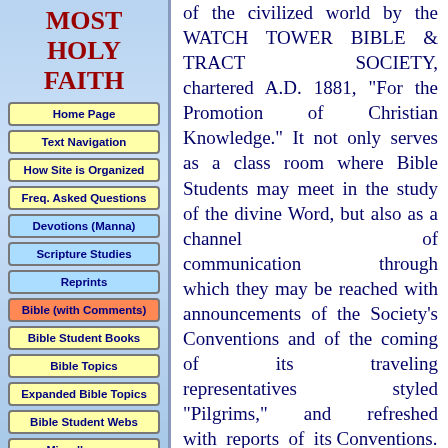MOST HOLY FAITH
Home Page
Text Navigation
How Site is Organized
Freq. Asked Questions
Devotions (Manna)
Scripture Studies
Reprints
Bible (with Comments)
Bible Student Books
Bible Topics
Expanded Bible Topics
Bible Student Webs
Miscellaneous
of the civilized world by the WATCH TOWER BIBLE & TRACT SOCIETY, chartered A.D. 1881, "For the Promotion of Christian Knowledge." It not only serves as a class room where Bible Students may meet in the study of the divine Word, but also as a channel of communication through which they may be reached with announcements of the Society's Conventions and of the coming of its traveling representatives styled "Pilgrims," and refreshed with reports of its Conventions.
Our "Berean Lessons" are